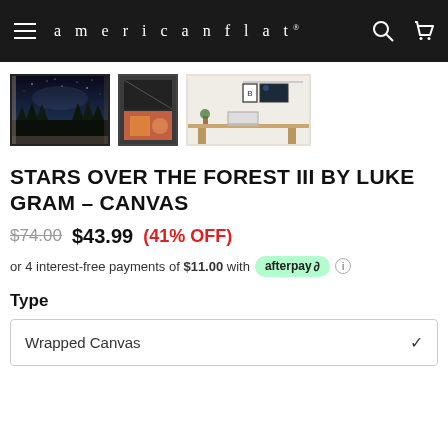americanflat
[Figure (screenshot): Three product thumbnail images: selected canvas print of stars over forest (landscape), close-up of canvas corner/frame, and lifestyle room scene with desk and art prints on wall]
STARS OVER THE FOREST III BY LUKE GRAM – CANVAS
$74.00  $43.99  (41% OFF)
or 4 interest-free payments of $11.00 with afterpay ℹ
Type
Wrapped Canvas